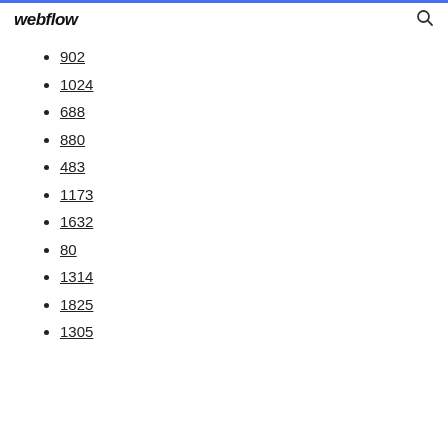webflow
902
1024
688
880
483
1173
1632
80
1314
1825
1305